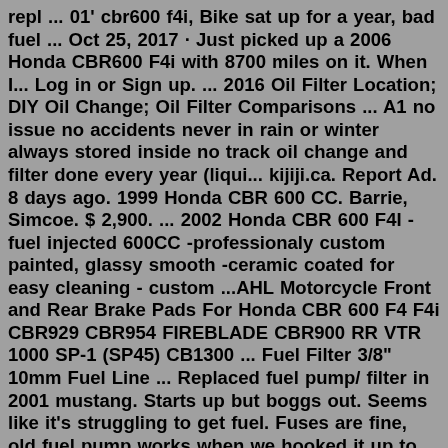repl ... 01' cbr600 f4i, Bike sat up for a year, bad fuel ... Oct 25, 2017 · Just picked up a 2006 Honda CBR600 F4i with 8700 miles on it. When I... Log in or Sign up. ... 2016 Oil Filter Location; DIY Oil Change; Oil Filter Comparisons ... A1 no issue no accidents never in rain or winter always stored inside no track oil change and filter done every year (liqui... kijiji.ca. Report Ad. 8 days ago. 1999 Honda CBR 600 CC. Barrie, Simcoe. $ 2,900. ... 2002 Honda CBR 600 F4I - fuel injected 600CC -professionaly custom painted, glassy smooth -ceramic coated for easy cleaning - custom ...AHL Motorcycle Front and Rear Brake Pads For Honda CBR 600 F4 F4i CBR929 CBR954 FIREBLADE CBR900 RR VTR 1000 SP-1 (SP45) CB1300 ... Fuel Filter 3/8" 10mm Fuel Line ... Replaced fuel pump/ filter in 2001 mustang. Starts up but boggs out. Seems like it's struggling to get fuel. Fuses are fine, old fuel pump works when we hooked it up to the battery. ... 02 cbr 600 f4i, red fi light flashes and bike. 2002 Honda CBR 600 F(4)i. I need a